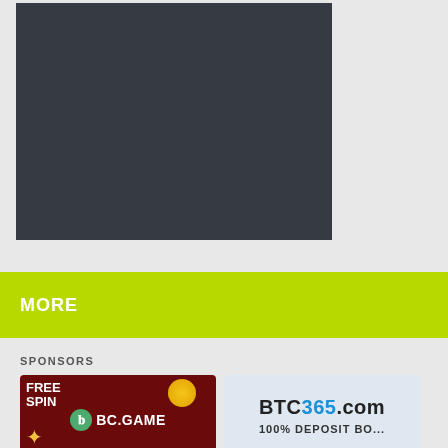[Figure (screenshot): Dark gray rectangular content area (video player or media embed placeholder) against a light gray background]
MORE
SPONSORS
[Figure (photo): BC.GAME sponsor banner with dark red background, FREE SPIN text, green BC logo, and gold coin graphic]
[Figure (photo): BTC365.com sponsor banner with 100% DEPOSIT BONUS text on light blue/white background]